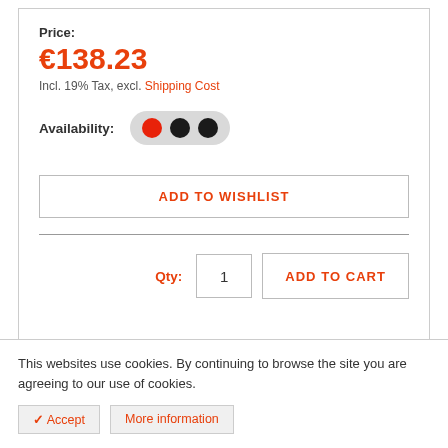Price:
€138.23
Incl. 19% Tax, excl. Shipping Cost
Availability:
ADD TO WISHLIST
Qty:
1
ADD TO CART
This websites use cookies. By continuing to browse the site you are agreeing to our use of cookies.
✓ Accept
More information